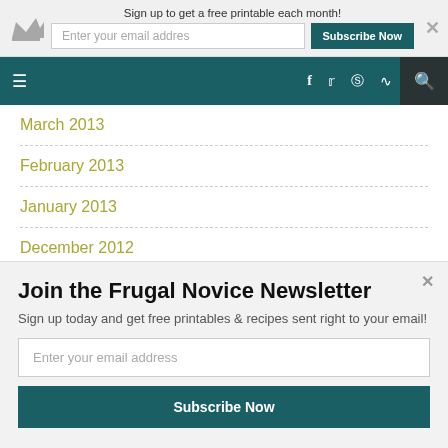Sign up to get a free printable each month!
[Figure (screenshot): Navigation bar with hamburger menu, social icons (Facebook, Twitter, Instagram, RSS), and search]
March 2013
February 2013
January 2013
December 2012
November 2012
Join the Frugal Novice Newsletter
Sign up today and get free printables & recipes sent right to your email!